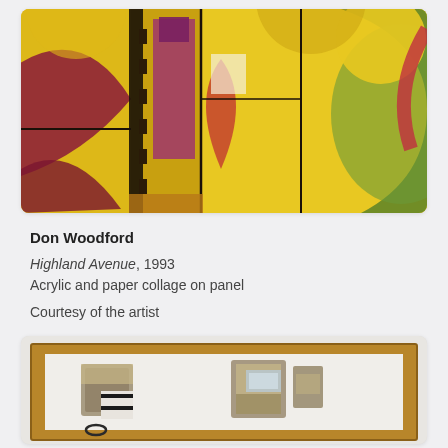[Figure (photo): Abstract acrylic and paper collage painting by Don Woodford titled Highland Avenue, 1993. Vivid yellow background with geometric shapes, curves, and organic forms in deep red/maroon, green, black, and white. Divided into rectangular panels with bold outlines and textured surfaces.]
Don Woodford
Highland Avenue, 1993
Acrylic and paper collage on panel

Courtesy of the artist
[Figure (photo): A framed shadow box / assemblage artwork displayed on a white wall. Inside a wood-framed rectangular box are textured, mixed-media sculptural objects including rough stone-like and textile pieces arranged in two groupings against a white background.]